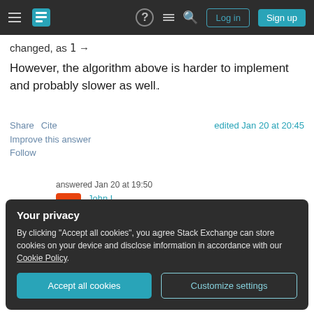Stack Exchange navigation bar with logo, icons, Log in and Sign up buttons
changed, as 1 →
However, the algorithm above is harder to implement and probably slower as well.
Share  Cite    edited Jan 20 at 20:45
Improve this answer
Follow
answered Jan 20 at 19:50
John L.
35k  ★4  ⬟30  ⬡80
Your privacy
By clicking "Accept all cookies", you agree Stack Exchange can store cookies on your device and disclose information in accordance with our Cookie Policy.
Accept all cookies    Customize settings